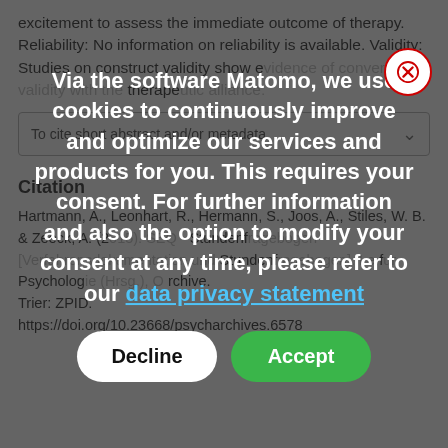excitement to assess the immediate outcome of therapy. Reliability: No information on reliability is available. Validity: Studies on construct validity show evidence of convergent validity with the therapeutic alliance.
To cite short abstract and/or metadata
Citation
Hartmann, A., Leonhart, R., Hermann, S., Joos, A., Stiles, W. B. & Zeeck, A. (2015). SEQ - Stundenfragebogen [Verfahrensdokumentation und Stundenfragebogen]. Le fur Psychologie (Hrsg.), O Archive. Trier: ZPID.
https://doi.org/10.23668/psycharchives.6578
[Figure (screenshot): Cookie consent modal overlay with dark semi-transparent background. White bold text reads: 'Via the software Matomo, we use cookies to continuously improve and optimize our services and products for you. This requires your consent. For further information and also the option to modify your consent at any time, please refer to our data privacy statement'. Two buttons: 'Decline' (white) and 'Accept' (green). Close button (X) in top-right circle.]